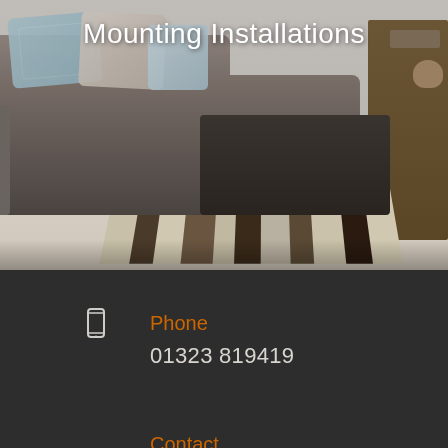[Figure (photo): Living room interior with dark brown leather sectional sofa with decorative pillows, a striped area rug, and a wooden shelving unit on the right side]
Mounting Installations
Phone
01323 819419